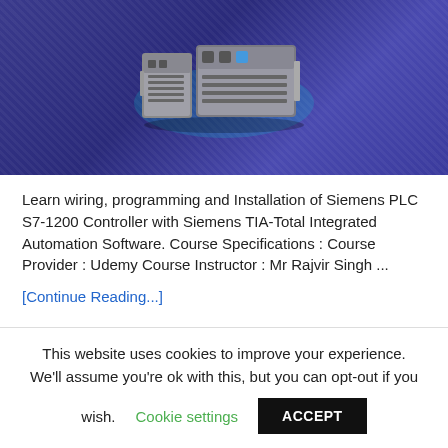[Figure (photo): Siemens PLC S7-1200 controller hardware on a dark blue diagonal-striped background with cyan glow effect]
Learn wiring, programming and Installation of Siemens PLC S7-1200 Controller with Siemens TIA-Total Integrated Automation Software. Course Specifications : Course Provider : Udemy Course Instructor : Mr Rajvir Singh ...
[Continue Reading...]
This website uses cookies to improve your experience. We'll assume you're ok with this, but you can opt-out if you wish. Cookie settings ACCEPT